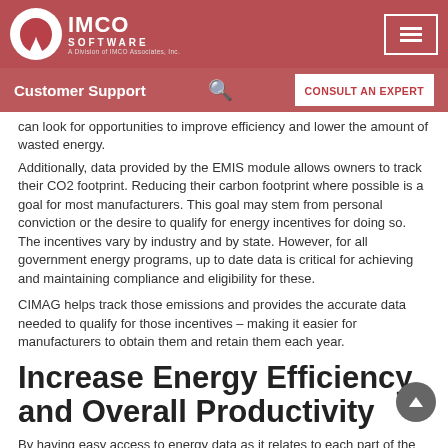IMCO SOFTWARE - Navigation bar with Customer Support and Consult An Expert
can look for opportunities to improve efficiency and lower the amount of wasted energy.
Additionally, data provided by the EMIS module allows owners to track their CO2 footprint. Reducing their carbon footprint where possible is a goal for most manufacturers. This goal may stem from personal conviction or the desire to qualify for energy incentives for doing so. These incentives vary by industry and by state. However, for all government energy programs, up to date data is critical for achieving and maintaining compliance and eligibility for these.
CIMAG helps track those emissions and provides the accurate data needed to qualify for those incentives – making it easier for manufacturers to obtain them and retain them each year.
Increase Energy Efficiency and Overall Productivity
By having easy access to energy data as it relates to each part of the production process, businesses can address the issue of efficiency. As mentioned above, analyzing per-machine energy usage during different times allows for greater scheduling efficiency to avoid those peak rate times. As the module integrates with the rest of the CIMAG software, those decisions regarding scheduling are made in real-time, limiting the amount of time wasted operating inefficiently.